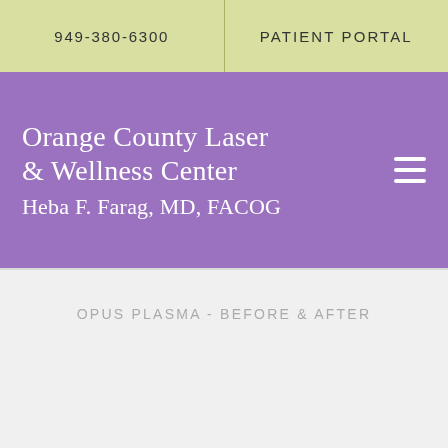949-380-6300   PATIENT PORTAL
Orange County Laser & Wellness Center
Heba F. Farag, MD, FACOG
OPUS PLASMA - BEFORE & AFTER